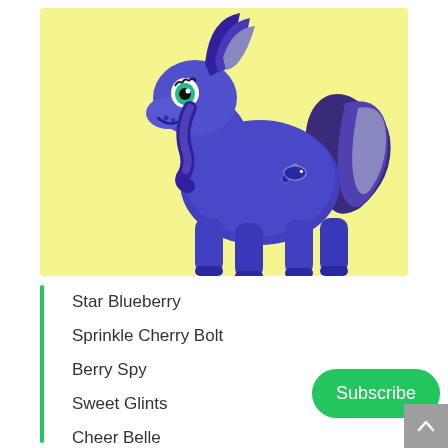[Figure (illustration): A blue cartoon pony (My Little Pony style) with dark purple/navy mane and tail with light blue streaks, green eyes, and a small whale cutie mark on its flank. Set against a pale yellow background.]
Star Blueberry
Sprinkle Cherry Bolt
Berry Spy
Sweet Glints
Cheer Belle